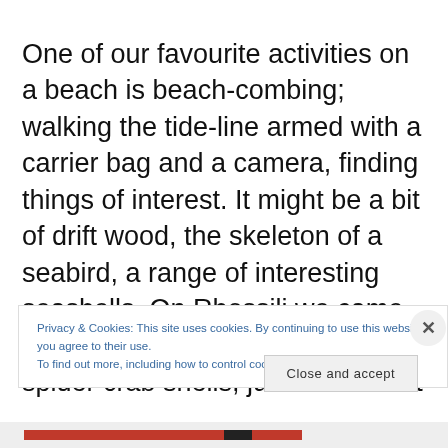One of our favourite activities on a beach is beach-combing; walking the tide-line armed with a carrier bag and a camera, finding things of interest. It might be a bit of drift wood, the skeleton of a seabird, a range of interesting seashells. On Rhossili we came across probably hundreds of spider crab shells, just the bit that
Privacy & Cookies: This site uses cookies. By continuing to use this website, you agree to their use.
To find out more, including how to control cookies, see here: Cookie Policy
Close and accept